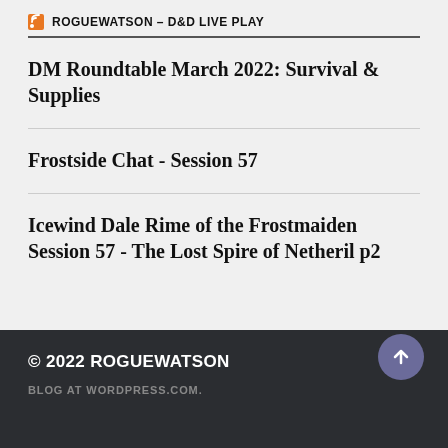ROGUEWATSON – D&D LIVE PLAY
DM Roundtable March 2022: Survival & Supplies
Frostside Chat - Session 57
Icewind Dale Rime of the Frostmaiden Session 57 - The Lost Spire of Netheril p2
© 2022 ROGUEWATSON
BLOG AT WORDPRESS.COM.